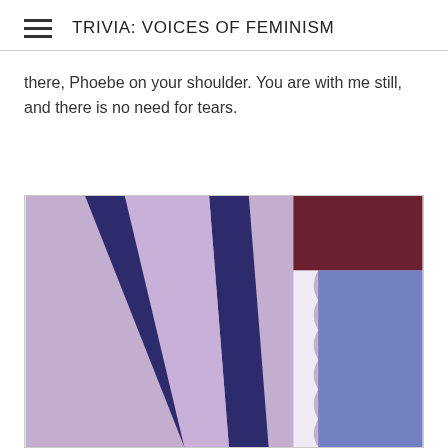TRIVIA: VOICES OF FEMINISM
there, Phoebe on your shoulder. You are with me still, and there is no need for tears.
[Figure (illustration): Abstract artwork with purple/lavender tones showing geometric shapes — two dark navy diagonal lines forming a V-shape against a lavender background, with a dark burgundy rectangle in the upper right and a blue panel with a white scalloped edge on the right side.]